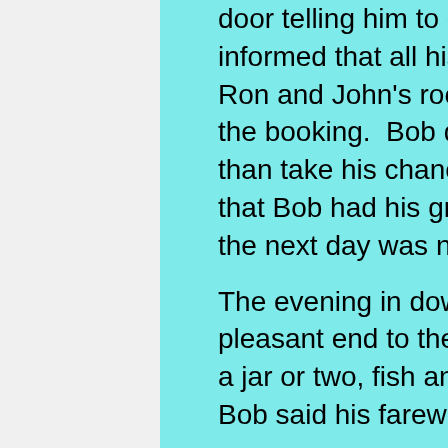door telling him to check with the landlord, Bob was informed that all his gear had been transferred to Ron and John's room as somebody had screwed up the booking.  Bob decided that he'd rather go home than take his chances with Ron and John. The fact that Bob had his grandson's christening to attend the next day was neither here nor there.
The evening in downtown Swanage with Dick was a pleasant end to the day, following more reminiscing, a jar or two, fish and chips and a stroll on the prom Bob said his farewells and headed home.
The following day the intrepid five found the going a touch more difficult than the first day and the writer understands that all five lived to tell the tale but declined to go into detail.
July 14th 2015
To this day recollections of the next day's hike to Kimmeridege ranks as the most difficult ever attempted, bit of a shame but